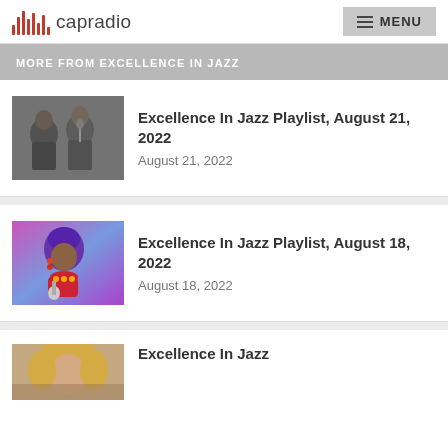capradio | MENU
MORE FROM EXCELLENCE IN JAZZ
Excellence In Jazz Playlist, August 21, 2022 — August 21, 2022
Excellence In Jazz Playlist, August 18, 2022 — August 18, 2022
Excellence In Jazz (partial)